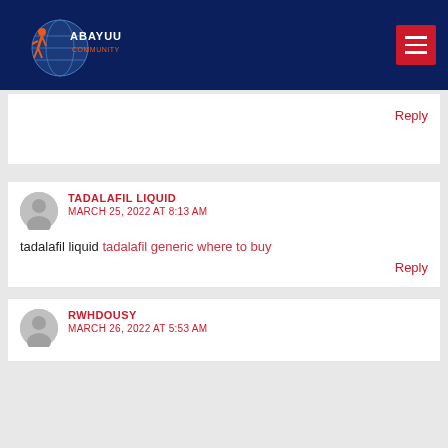[Figure (logo): Abayuuti Community Group logo with globe and figure, dark navy header background]
Reply
[Figure (illustration): Gray avatar circle icon for commenter]
TADALAFIL LIQUID
MARCH 25, 2022 AT 8:13 AM
tadalafil liquid tadalafil generic where to buy
Reply
[Figure (illustration): Gray avatar circle icon for commenter]
RWHDOUSY
MARCH 26, 2022 AT 5:53 AM